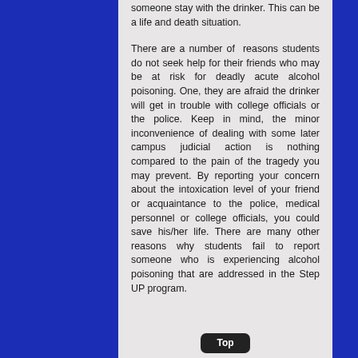someone stay with the drinker. This can be a life and death situation.
There are a number of reasons students do not seek help for their friends who may be at risk for deadly acute alcohol poisoning. One, they are afraid the drinker will get in trouble with college officials or the police. Keep in mind, the minor inconvenience of dealing with some later campus judicial action is nothing compared to the pain of the tragedy you may prevent. By reporting your concern about the intoxication level of your friend or acquaintance to the police, medical personnel or college officials, you could save his/her life. There are many other reasons why students fail to report someone who is experiencing alcohol poisoning that are addressed in the Step UP program.